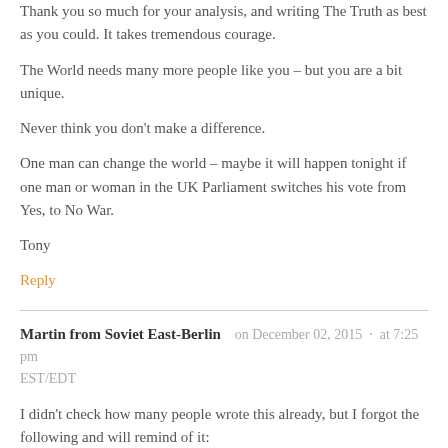Thank you so much for your analysis, and writing The Truth as best as you could. It takes tremendous courage.
The World needs many more people like you – but you are a bit unique.
Never think you don't make a difference.
One man can change the world – maybe it will happen tonight if one man or woman in the UK Parliament switches his vote from Yes, to No War.
Tony
Reply
Martin from Soviet East-Berlin  on December 02, 2015 · at 7:25 pm EST/EDT
I didn't check how many people wrote this already, but I forgot the following and will remind of it:
As somebody who is reading Saker's excellent blog for almost 2 years already – more or less on a daily basis – I can say with